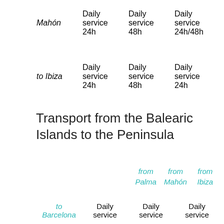|  | from Palma | from Mahón | from Ibiza |
| --- | --- | --- | --- |
| to Mahón | Daily service 24h | Daily service 48h | Daily service 24h/48h |
| to Ibiza | Daily service 24h | Daily service 48h | Daily service 24h |
Transport from the Balearic Islands to the Peninsula
|  | from Palma | from Mahón | from Ibiza |
| --- | --- | --- | --- |
| to Barcelona | Daily service | Daily service | Daily service |